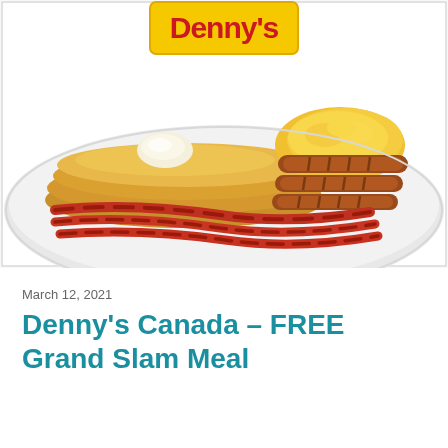[Figure (photo): Denny's breakfast plate with pancakes topped with butter, scrambled eggs, sausage links, and bacon strips. Denny's logo visible in upper portion of image.]
March 12, 2021
Denny's Canada – FREE Grand Slam Meal